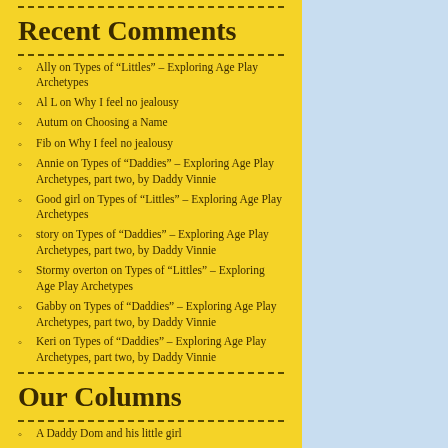Recent Comments
Ally on Types of “Littles” – Exploring Age Play Archetypes
Al L on Why I feel no jealousy
Autum on Choosing a Name
Fib on Why I feel no jealousy
Annie on Types of “Daddies” – Exploring Age Play Archetypes, part two, by Daddy Vinnie
Good girl on Types of “Littles” – Exploring Age Play Archetypes
story on Types of “Daddies” – Exploring Age Play Archetypes, part two, by Daddy Vinnie
Stormy overton on Types of “Littles” – Exploring Age Play Archetypes
Gabby on Types of “Daddies” – Exploring Age Play Archetypes, part two, by Daddy Vinnie
Keri on Types of “Daddies” – Exploring Age Play Archetypes, part two, by Daddy Vinnie
Our Columns
A Daddy Dom and his little girl